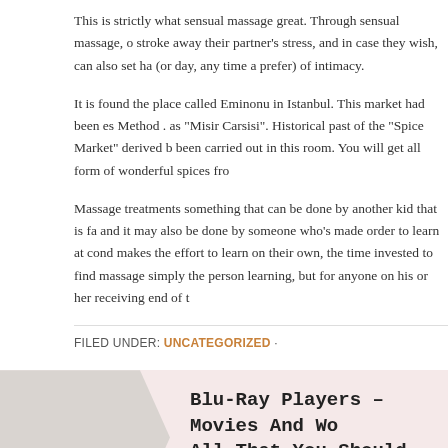This is strictly what sensual massage great. Through sensual massage, one can stroke away their partner's stress, and in case they wish, can also set ha... (or day, any time a prefer) of intimacy.
It is found the place called Eminonu in Istanbul. This market had been es... Method . as “Misir Carsisi”. Historical past of the “Spice Market” derived b... been carried out in this room. You will get all form of wonderful spices fro...
Massage treatments something that can be done by another kid that is fa... and it may also be done by someone who’s made order to learn at condo... makes the effort to learn on their own, the time invested to find massage ... simply the person learning, but for anyone on his or her receiving end of t...
FILED UNDER: UNCATEGORIZED ·
Blu-Ray Players – Movies And Wo... All That You Should Know
JULY 14, 2022 BY ADMIN ·
It is one very popular idea that the younger age is which brain's developm...